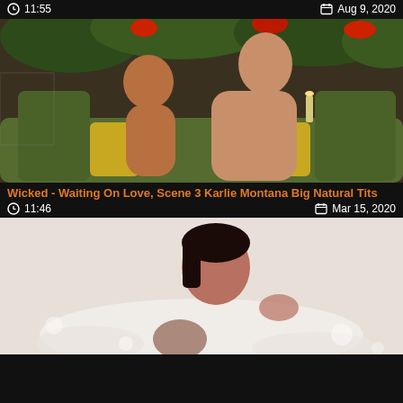11:55
Aug 9, 2020
[Figure (photo): Video thumbnail showing two adults on an outdoor couch with green and yellow cushions surrounded by plants]
Wicked - Waiting On Love, Scene 3 Karlie Montana Big Natural Tits
11:46
Mar 15, 2020
[Figure (photo): Video thumbnail showing a dark-haired woman in a bathtub]